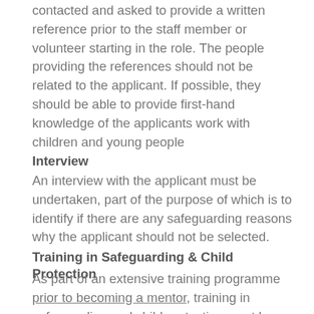contacted and asked to provide a written reference prior to the staff member or volunteer starting in the role. The people providing the references should not be related to the applicant. If possible, they should be able to provide first-hand knowledge of the applicants work with children and young people
Interview
An interview with the applicant must be undertaken, part of the purpose of which is to identify if there are any safeguarding reasons why the applicant should not be selected.
Training in Safeguarding & Child Protection
As part of an extensive training programme prior to becoming a mentor, training in safeguarding and child protection must be given. Refresher